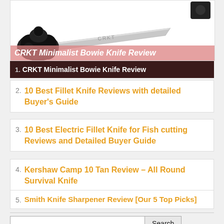[Figure (photo): Photo of a CRKT knife with black handle on white background, with pink overlay showing title text 'CRKT Minimalist Bowie Knife Review' in bold italic white, followed by dark brown bar with '1. CRKT Minimalist Bowie Knife Review']
2. 10 Best Fillet Knife Reviews with detailed Buyer's Guide
3. 10 Best Electric Fillet Knife for Fish cutting Reviews and Detailed Buyer Guide
4. Kershaw Camp 10 Tan Review – All Round Survival Knife
5. Smith Knife Sharpener Review [Our 5 Top Picks]